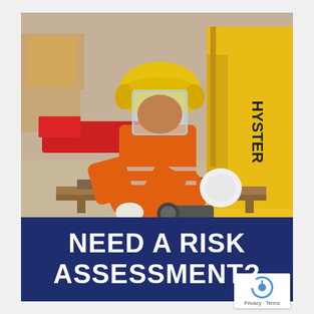[Figure (photo): Worker in orange protective coverall suit, yellow hard hat with face shield and ear defenders, white gloves and knee pads, using an angle grinder on metal rods placed on a wooden pallet. Background shows a yellow Hyster forklift and cardboard boxes in a warehouse.]
NEED A RISK ASSESSMENT?